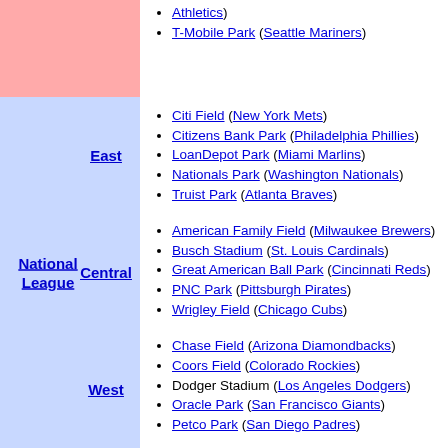T-Mobile Park (Seattle Mariners)
Citi Field (New York Mets)
Citizens Bank Park (Philadelphia Phillies)
LoanDepot Park (Miami Marlins)
Nationals Park (Washington Nationals)
Truist Park (Atlanta Braves)
American Family Field (Milwaukee Brewers)
Busch Stadium (St. Louis Cardinals)
Great American Ball Park (Cincinnati Reds)
PNC Park (Pittsburgh Pirates)
Wrigley Field (Chicago Cubs)
Chase Field (Arizona Diamondbacks)
Coors Field (Colorado Rockies)
Dodger Stadium (Los Angeles Dodgers)
Oracle Park (San Francisco Giants)
Petco Park (San Diego Padres)